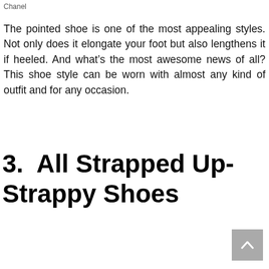Chanel
The pointed shoe is one of the most appealing styles. Not only does it elongate your foot but also lengthens it if heeled. And what’s the most awesome news of all? This shoe style can be worn with almost any kind of outfit and for any occasion.
3.  All Strapped Up- Strappy Shoes